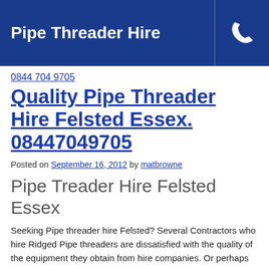Pipe Threader Hire
0844 704 9705
Quality Pipe Threader Hire Felsted Essex. 08447049705
Posted on September 16, 2012 by matbrowne
Pipe Treader Hire Felsted Essex
Seeking Pipe threader hire Felsted? Several Contractors who hire Ridged Pipe threaders are dissatisfied with the quality of the equipment they obtain from hire companies. Or perhaps the Pipe threader hire rates they are getting